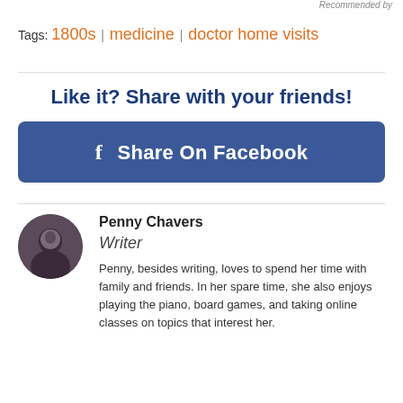Recommended by
Tags: 1800s | medicine | doctor home visits
Like it? Share with your friends!
[Figure (other): Facebook Share button with 'f Share On Facebook' text on dark blue rounded rectangle]
Penny Chavers
Writer
Penny, besides writing, loves to spend her time with family and friends. In her spare time, she also enjoys playing the piano, board games, and taking online classes on topics that interest her.